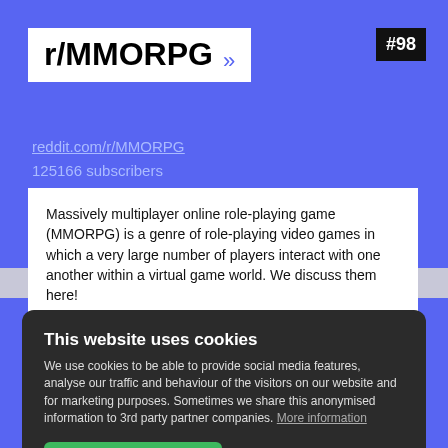r/MMORPG »
#98
reddit.com/r/MMORPG
125166 subscribers
Massively multiplayer online role-playing game (MMORPG) is a genre of role-playing video games in which a very large number of players interact with one another within a virtual game world. We discuss them here!
This website uses cookies
We use cookies to be able to provide social media features, analyse our traffic and behaviour of the visitors on our website and for marketing purposes. Sometimes we share this anonymised information to 3rd party partner companies. More information
I accept all Cookies
Change settings